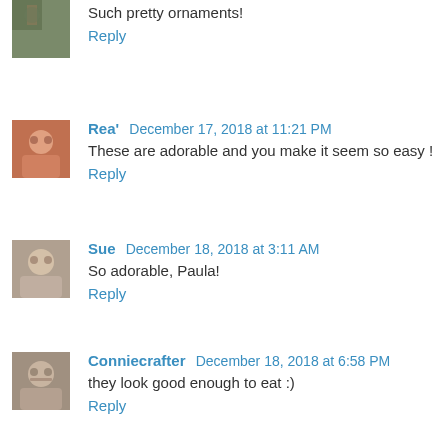Such pretty ornaments!
Reply
Rea'  December 17, 2018 at 11:21 PM
These are adorable and you make it seem so easy !
Reply
Sue  December 18, 2018 at 3:11 AM
So adorable, Paula!
Reply
Conniecrafter  December 18, 2018 at 6:58 PM
they look good enough to eat :)
Reply